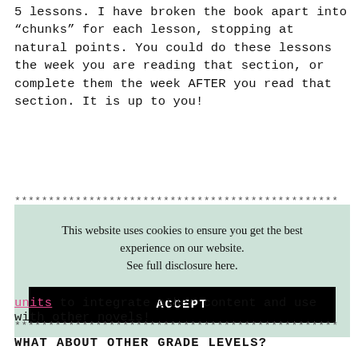5 lessons. I have broken the book apart into “chunks” for each lesson, stopping at natural points. You could do these lessons the week you are reading that section, or complete them the week AFTER you read that section. It is up to you!
******************************************
This website uses cookies to ensure you get the best experience on our website.
See full disclosure here.
ACCEPT
units to integrate other content and use with other novels!
******************************************
WHAT ABOUT OTHER GRADE LEVELS?